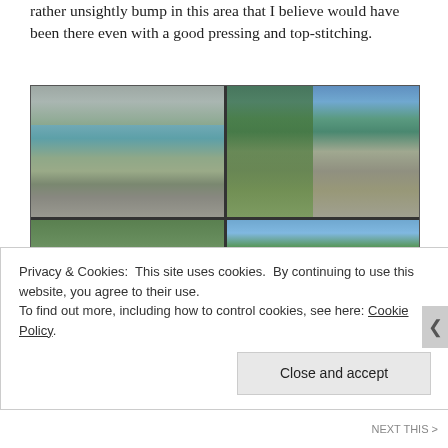rather unsightly bump in this area that I believe would have been there even with a good pressing and top-stitching.
[Figure (photo): A 2x2 grid of outdoor photos showing people near a rocky quarry with teal water. Top-left: person with dog on rocks. Top-right: woman sitting on rocks under trees. Bottom-left and bottom-right: partial views with white hat/balloon and green trees.]
Privacy & Cookies: This site uses cookies. By continuing to use this website, you agree to their use.
To find out more, including how to control cookies, see here: Cookie Policy